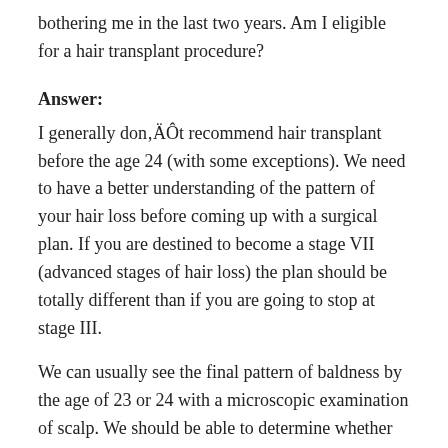bothering me in the last two years. Am I eligible for a hair transplant procedure?
Answer:
I generally don’t recommend hair transplant before the age 24 (with some exceptions). We need to have a better understanding of the pattern of your hair loss before coming up with a surgical plan. If you are destined to become a stage VII (advanced stages of hair loss) the plan should be totally different than if you are going to stop at stage III.
We can usually see the final pattern of baldness by the age of 23 or 24 with a microscopic examination of scalp. We should be able to determine whether or not you are